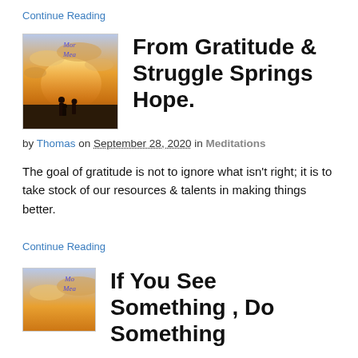Continue Reading
[Figure (photo): Book cover with silhouette of people on a hilltop at sunset with cursive text 'Morning Meditations']
From Gratitude & Struggle Springs Hope.
by Thomas on September 28, 2020 in Meditations
The goal of gratitude is not to ignore what isn't right; it is to take stock of our resources & talents in making things better.
Continue Reading
[Figure (photo): Book cover with silhouette of people on a hilltop at sunset with cursive text 'Morning Meditations']
If You See Something , Do Something